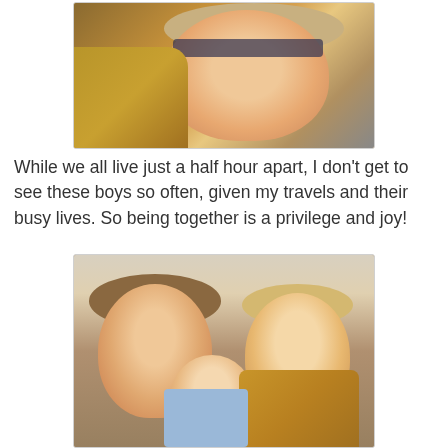[Figure (photo): Selfie photo showing a woman with glasses laughing widely, with a child in a yellow plaid shirt to her left and another child visible behind her, taken indoors]
While we all live just a half hour apart, I don't get to see these boys so often, given my travels and their busy lives. So being together is a privilege and joy!
[Figure (photo): Photo of a young woman with glasses smiling alongside two young boys, one in a light blue shirt and one in a yellow plaid shirt, taken in a kitchen setting]